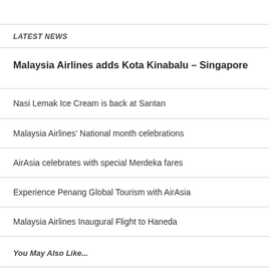LATEST NEWS
Malaysia Airlines adds Kota Kinabalu – Singapore
Nasi Lemak Ice Cream is back at Santan
Malaysia Airlines' National month celebrations
AirAsia celebrates with special Merdeka fares
Experience Penang Global Tourism with AirAsia
Malaysia Airlines Inaugural Flight to Haneda
You May Also Like...
We can't find a match yet, but you may be interested in one of these: